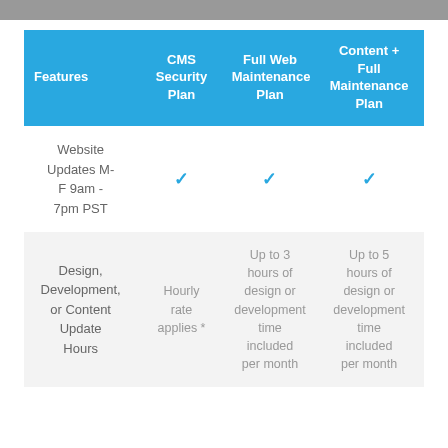| Features | CMS Security Plan | Full Web Maintenance Plan | Content + Full Maintenance Plan |
| --- | --- | --- | --- |
| Website Updates M-F 9am - 7pm PST | ✓ | ✓ | ✓ |
| Design, Development, or Content Update Hours | Hourly rate applies * | Up to 3 hours of design or development time included per month | Up to 5 hours of design or development time included per month |